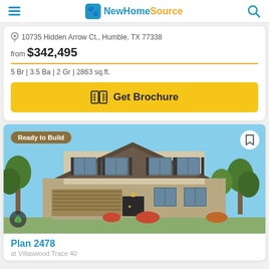NewHomeSource
10735 Hidden Arrow Ct., Humble, TX 77338
from $342,495
5 Br | 3.5 Ba | 2 Gr | 2863 sq.ft.
Get Brochure
[Figure (photo): Exterior rendering of a two-story new construction home with stone facade, two-car garage, and brick detailing. Badge reads 'Ready to Build'.]
Plan 2478
at Villaswood Trace 40